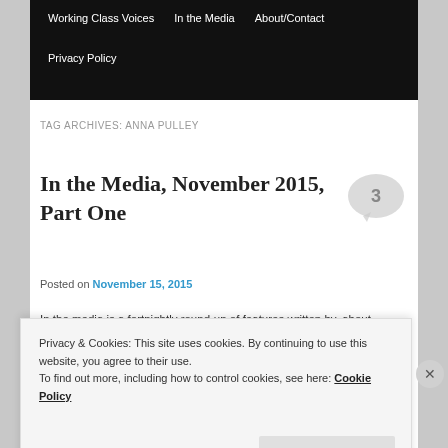Working Class Voices | In the Media | About/Contact | Privacy Policy
TAG ARCHIVES: ANNA PULLEY
In the Media, November 2015, Part One
Posted on November 15, 2015
In the media is a fortnightly round-up of features written by, about or containing female writers that have appeared
Privacy & Cookies: This site uses cookies. By continuing to use this website, you agree to their use.
To find out more, including how to control cookies, see here: Cookie Policy
Close and accept